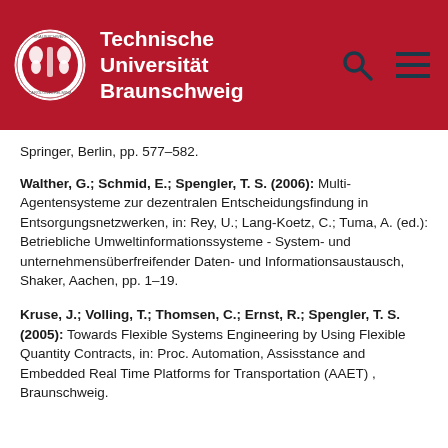[Figure (logo): Technische Universität Braunschweig header bar with university logo, name, search icon, and hamburger menu icon]
Springer, Berlin, pp. 577–582.
Walther, G.; Schmid, E.; Spengler, T. S. (2006): Multi-Agentensysteme zur dezentralen Entscheidungsfindung in Entsorgungsnetzwerken, in: Rey, U.; Lang-Koetz, C.; Tuma, A. (ed.): Betriebliche Umweltinformationssysteme - System- und unternehmensüberfreifender Daten- und Informationsaustausch, Shaker, Aachen, pp. 1–19.
Kruse, J.; Volling, T.; Thomsen, C.; Ernst, R.; Spengler, T. S. (2005): Towards Flexible Systems Engineering by Using Flexible Quantity Contracts, in: Proc. Automation, Assisstance and Embedded Real Time Platforms for Transportation (AAET) , Braunschweig.